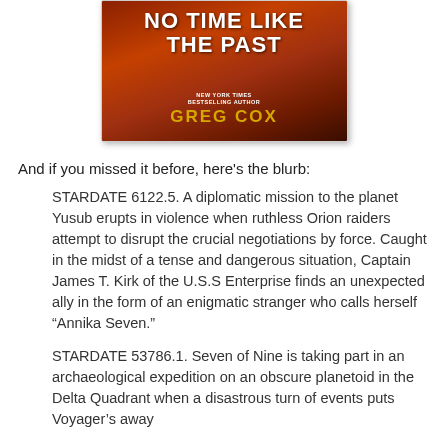[Figure (illustration): Book cover for 'No Time Like the Past' by Greg Cox (New York Times Bestselling Author), with orange-red background and stylized figures]
And if you missed it before, here's the blurb:
STARDATE 6122.5. A diplomatic mission to the planet Yusub erupts in violence when ruthless Orion raiders attempt to disrupt the crucial negotiations by force. Caught in the midst of a tense and dangerous situation, Captain James T. Kirk of the U.S.S Enterprise finds an unexpected ally in the form of an enigmatic stranger who calls herself “Annika Seven.”
STARDATE 53786.1. Seven of Nine is taking part in an archaeological expedition on an obscure planetoid in the Delta Quadrant when a disastrous turn of events puts Voyager’s away